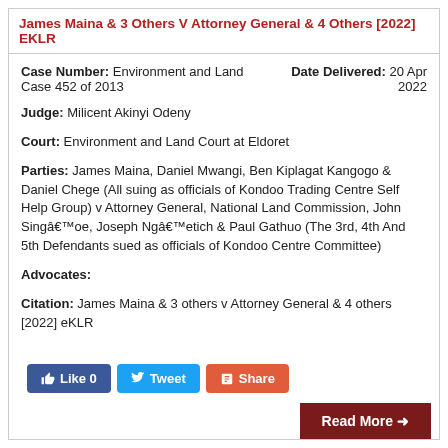James Maina & 3 Others V Attorney General & 4 Others [2022] EKLR
Case Number: Environment and Land Case 452 of 2013   Date Delivered: 20 Apr 2022
Judge: Milicent Akinyi Odeny
Court: Environment and Land Court at Eldoret
Parties: James Maina, Daniel Mwangi, Ben Kiplagat Kangogo & Daniel Chege (All suing as officials of Kondoo Trading Centre Self Help Group) v Attorney General, National Land Commission, John Singâ€™oe, Joseph Ngâ€™etich & Paul Gathuo (The 3rd, 4th And 5th Defendants sued as officials of Kondoo Centre Committee)
Advocates:
Citation: James Maina & 3 others v Attorney General & 4 others [2022] eKLR